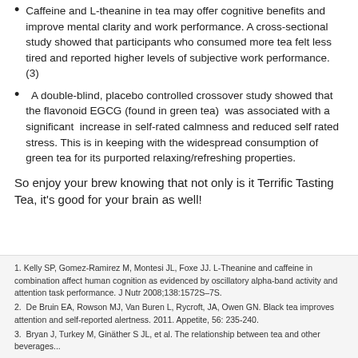Caffeine and L-theanine in tea may offer cognitive benefits and improve mental clarity and work performance. A cross-sectional study showed that participants who consumed more tea felt less tired and reported higher levels of subjective work performance. (3)
A double-blind, placebo controlled crossover study showed that the flavonoid EGCG (found in green tea) was associated with a significant increase in self-rated calmness and reduced self rated stress. This is in keeping with the widespread consumption of green tea for its purported relaxing/refreshing properties.
So enjoy your brew knowing that not only is it Terrific Tasting Tea, it's good for your brain as well!
1. Kelly SP, Gomez-Ramirez M, Montesi JL, Foxe JJ. L-Theanine and caffeine in combination affect human cognition as evidenced by oscillatory alpha-band activity and attention task performance. J Nutr 2008;138:1572S–7S.
2.  De Bruin EA, Rowson MJ, Van Buren L, Rycroft, JA, Owen GN. Black tea improves attention and self-reported alertness. 2011. Appetite, 56: 235-240.
3.  Bryan J, Turkey M, Ginäther S JL, et al. The relationship between tea and other beverages...